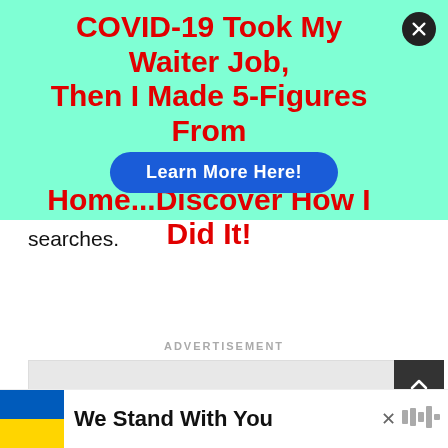[Figure (screenshot): Teal/mint background advertisement overlay with red bold headline 'COVID-19 Took My Waiter Job, Then I Made 5-Figures From Home...Discover How I Did It!' and a blue rounded button 'Learn More Here!' with a close (X) button in the top-right corner.]
searches.
ADVERTISEMENT
[Figure (other): Gray advertisement box placeholder with a dark scroll-to-top arrow button on the right.]
[Figure (other): Footer banner with Ukrainian flag (blue and yellow) on the left, bold text 'We Stand With You', an X close button, and a logo on the right.]